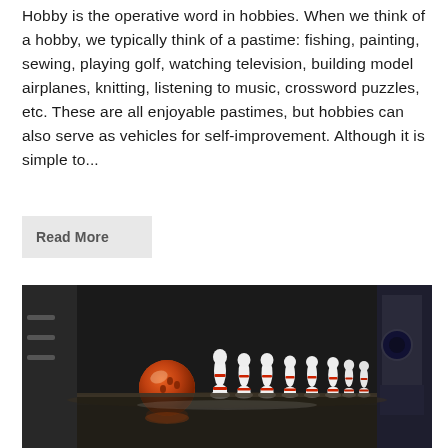Hobby is the operative word in hobbies. When we think of a hobby, we typically think of a pastime: fishing, painting, sewing, playing golf, watching television, building model airplanes, knitting, listening to music, crossword puzzles, etc. These are all enjoyable pastimes, but hobbies can also serve as vehicles for self-improvement. Although it is simple to...
Read More
[Figure (photo): A photograph of bowling pins lined up on a bowling lane with an orange bowling ball approaching them, viewed from a low angle. The pins are white with red stripes and their reflections are visible on the shiny dark lane surface.]